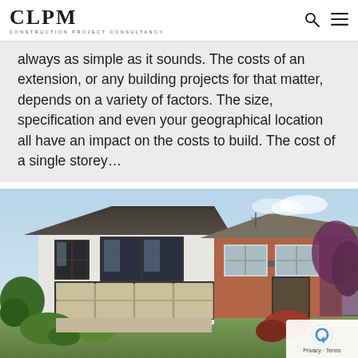CLPM — CONSTRUCTION PROJECT CONSULTANCY [with search and menu icons]
always as simple as it sounds. The costs of an extension, or any building projects for that matter, depends on a variety of factors. The size, specification and even your geographical location all have an impact on the costs to build. The cost of a single storey...
[Figure (photo): Exterior rear view of a two-storey house extension with white rendered finish, dark grey hip roof, large floor-to-ceiling windows on first floor, and wide bi-fold glass doors at ground level opening onto a garden patio. Original brick-built semi-detached house visible to the right. Garden with plants and shrubs in foreground.]